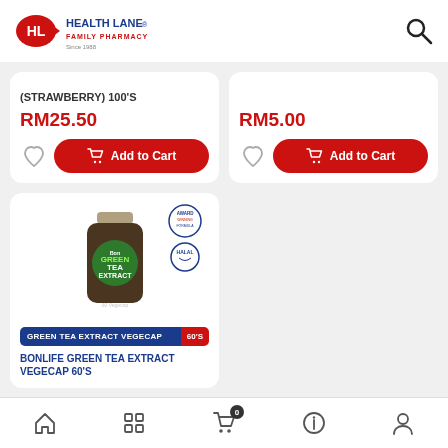[Figure (logo): Health Lane Family Pharmacy logo with HL icon and red/blue text]
(STRAWBERRY) 100'S
RM25.50
Add to Cart
RM5.00
Add to Cart
[Figure (photo): Bonlife Green Tea Extract Vegecap 60's bottle with green label and certification badges]
GREEN TEA EXTRACT VEGECAP 60'S
BONLIFE GREEN TEA EXTRACT VEGECAP 60'S